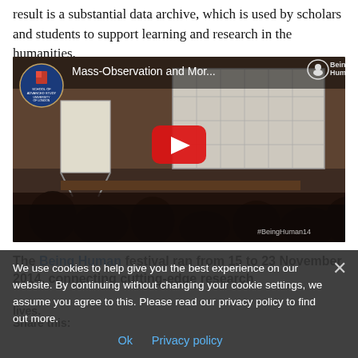result is a substantial data archive, which is used by scholars and students to support learning and research in the humanities.
[Figure (screenshot): YouTube video thumbnail showing a lecture/seminar room with audience, a presenter at the front, and a projected slide. Video title reads 'Mass-Observation and Mor...' with School of Advanced Study University of London badge and Being Human festival logo. A large red YouTube play button is visible in the center. Hashtag #BeingHuman14 in bottom right.]
The Being Human festival ran from 15 to 23 November 2014, connecting cutting-edge research lives.
We use cookies to help give you the best experience on our website. By continuing without changing your cookie settings, we assume you agree to this. Please read our privacy policy to find out more.
Share this: